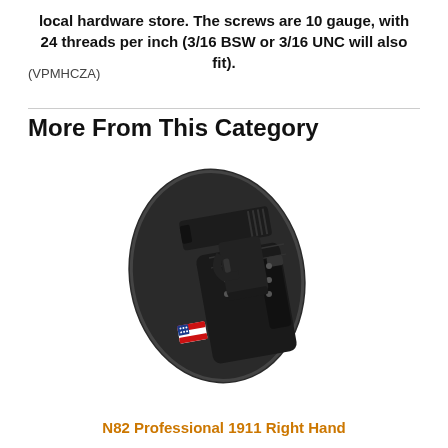local hardware store. The screws are 10 gauge, with 24 threads per inch (3/16 BSW or 3/16 UNC will also fit).
(VPMHCZA)
More From This Category
[Figure (photo): Photo of a black gun holster (N82 Professional) with a pistol mounted on it, showing an oval-shaped soft backing pad and rigid Kydex shell with mounting hardware, American flag patch visible.]
N82 Professional 1911 Right Hand Holster